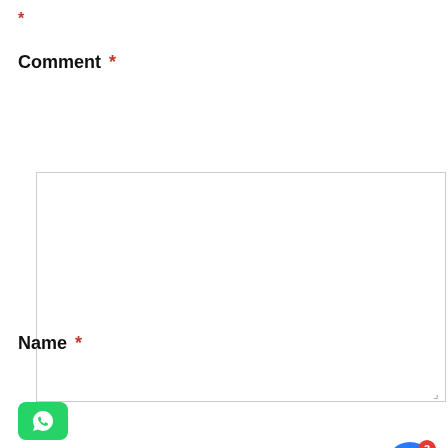*
Comment *
[Figure (screenshot): Empty textarea input box with resize handle]
Name *
[Figure (screenshot): Name input field with notification popup overlay showing Hindi text and '11 hours ago', a close X button, a WhatsApp button at bottom-left, and a blue bell notification button with badge showing 3 at bottom-right]